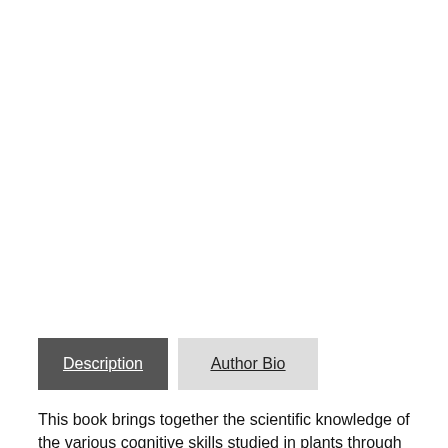[Figure (other): View Extract button — a grey rectangular button with white text reading 'View Extract']
[Figure (other): Two tab buttons side by side: 'Description' (dark grey, active, white underlined text) and 'Author Bio' (light grey, black underlined text)]
This book brings together the scientific knowledge of the various cognitive skills studied in plants through